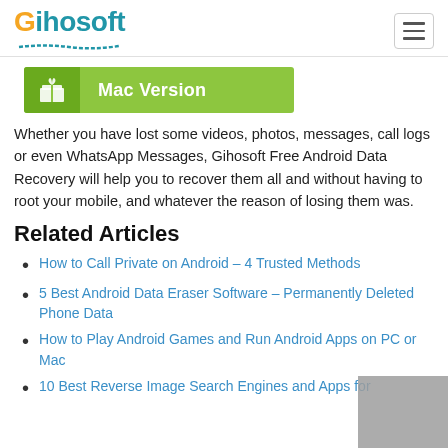Gihosoft
[Figure (other): Mac Version download button in green]
Whether you have lost some videos, photos, messages, call logs or even WhatsApp Messages, Gihosoft Free Android Data Recovery will help you to recover them all and without having to root your mobile, and whatever the reason of losing them was.
Related Articles
How to Call Private on Android – 4 Trusted Methods
5 Best Android Data Eraser Software – Permanently Deleted Phone Data
How to Play Android Games and Run Android Apps on PC or Mac
10 Best Reverse Image Search Engines and Apps for